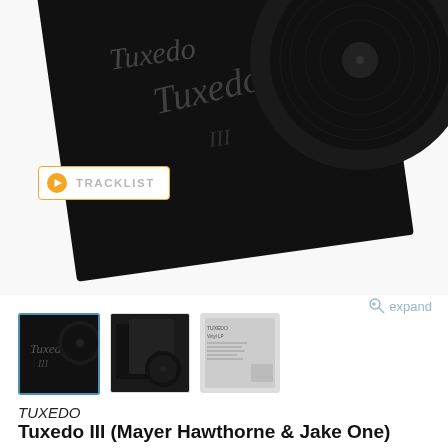[Figure (photo): Product photo of Tuxedo III vinyl LP record with dark sleeve, partially open showing the vinyl record, with a TRACKLIST button overlay]
[Figure (photo): Three thumbnail images: first (active, highlighted) shows front cover of Tuxedo III vinyl LP, second shows vinyl record with sleeve and disc, third shows back cover with tracklist text]
TUXEDO
Tuxedo III (Mayer Hawthorne & Jake One) Vinyl LP
Funk On Sight / sku: fr-4145
4 high grade dancefloor boogie + modern funk slappers